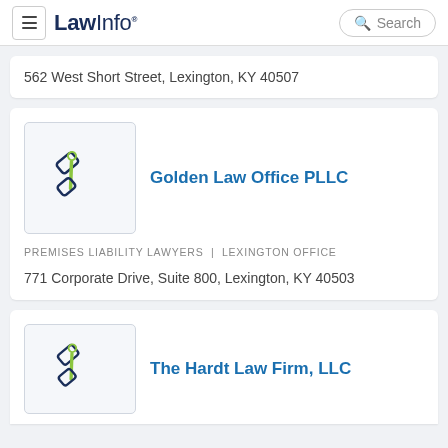LawInfo. | Search
562 West Short Street, Lexington, KY 40507
Golden Law Office PLLC
PREMISES LIABILITY LAWYERS | LEXINGTON OFFICE
771 Corporate Drive, Suite 800, Lexington, KY 40503
The Hardt Law Firm, LLC